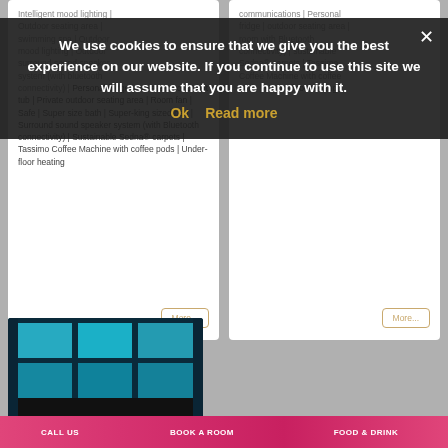connectivity) | Personal fridge | Private outdoor hot tub | Private outdoor seating area | Room fan | Safe | Super size bath | Super-king sized bed | Surround sound speaker system (with Bluetooth connectivity) | Sustainable Sedna® carpets | Tassimo Coffee Machine with coffee pods | Under-floor heating
connectivity) | Personal fridge | Private outdoor hot tub | Private outdoor seating area | Room fan | Safe | Super size bath | Super-king sized bed | Surround sound speaker system (with Bluetooth connectivity) | Sustainable Sedna® carpets | Tassimo Coffee Machine with coffee pods | Under-floor heating
We use cookies to ensure that we give you the best experience on our website. If you continue to use this site we will assume that you are happy with it.
Ok
Read more
[Figure (photo): Interior photo of a room with blue illuminated ceiling panels and dark walls]
CALL US
BOOK A ROOM
FOOD & DRINK